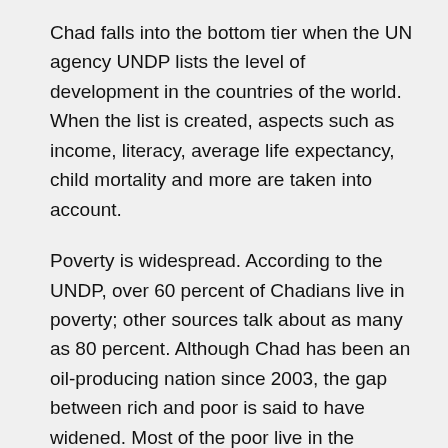Chad falls into the bottom tier when the UN agency UNDP lists the level of development in the countries of the world. When the list is created, aspects such as income, literacy, average life expectancy, child mortality and more are taken into account.
Poverty is widespread. According to the UNDP, over 60 percent of Chadians live in poverty; other sources talk about as many as 80 percent. Although Chad has been an oil-producing nation since 2003, the gap between rich and poor is said to have widened. Most of the poor live in the countryside.
Countryaah Official Site: Official statistics for population in Chad, including population growth, density, and estimation in next 50